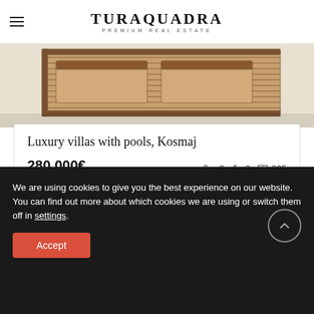TURAQUADRA PREMIUM REAL ESTATE
[Figure (photo): Luxury wooden deck/terrace with lounge chairs, aerial view, white background]
Luxury villas with pools, Kosmaj
280.000€   2 bedrooms  2 bathrooms  265 sqm
[Figure (photo): Second property listing, partially visible, with RECOMMENDED badge and FOR SALE / EXCLUSIVE OFFER labels]
We are using cookies to give you the best experience on our website.
You can find out more about which cookies we are using or switch them off in settings.
Accept